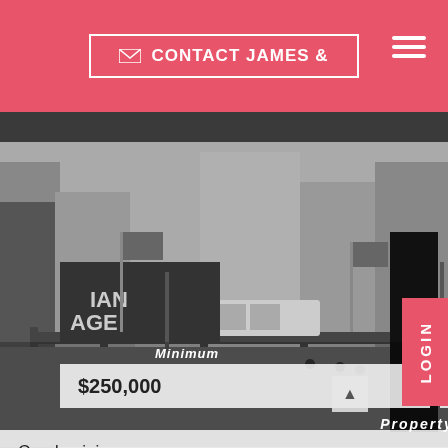✉ CONTACT JAMES &
[Figure (photo): Black and white photograph of a Chicago city street scene with elevated train tracks, buildings including Hampton Inn signage, flags, and a CTA train in the foreground]
Minimum
Maximum
$250,000
$350,000
Property Type
Condominium
LOGIN